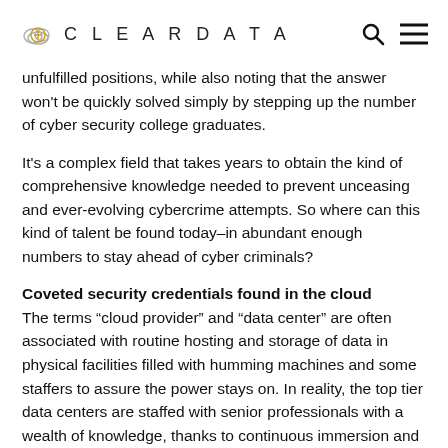CLEARDATA
unfulfilled positions, while also noting that the answer won't be quickly solved simply by stepping up the number of cyber security college graduates.
It's a complex field that takes years to obtain the kind of comprehensive knowledge needed to prevent unceasing and ever-evolving cybercrime attempts. So where can this kind of talent be found today–in abundant enough numbers to stay ahead of cyber criminals?
Coveted security credentials found in the cloud
The terms “cloud provider” and “data center” are often associated with routine hosting and storage of data in physical facilities filled with humming machines and some staffers to assure the power stays on. In reality, the top tier data centers are staffed with senior professionals with a wealth of knowledge, thanks to continuous immersion and training in all things related to security and privacy. The